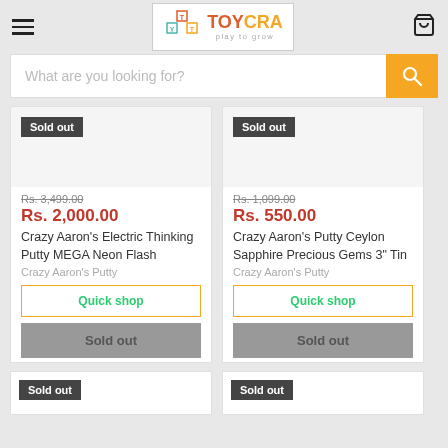TOYCRA play to grow — navigation header with hamburger menu and cart icon
What are you looking for?
[Figure (screenshot): Product card: Sold out badge, Rs. 3,499.00 original price, Rs. 2,000.00 sale price, Crazy Aaron's Electric Thinking Putty MEGA Neon Flash, Crazy Aaron's Putty brand, Quick shop button, Sold out button]
[Figure (screenshot): Product card: Sold out badge, Rs. 1,099.00 original price, Rs. 550.00 sale price, Crazy Aaron's Putty Ceylon Sapphire Precious Gems 3" Tin, Crazy Aaron's Putty brand, Quick shop button, Sold out button]
[Figure (screenshot): Partial product card bottom row left: Sold out badge visible]
[Figure (screenshot): Partial product card bottom row right: Sold out badge visible]